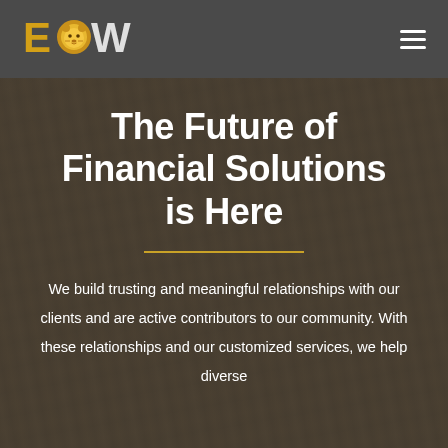[Figure (logo): EOW logo with lion head icon in gold, letters E and W on either side in white/gold]
[Figure (illustration): Hamburger menu icon (three horizontal lines) in white on dark navigation bar]
[Figure (photo): Dark overlay on gym/woodwork background photo]
The Future of Financial Solutions is Here
We build trusting and meaningful relationships with our clients and are active contributors to our community. With these relationships and our customized services, we help diverse